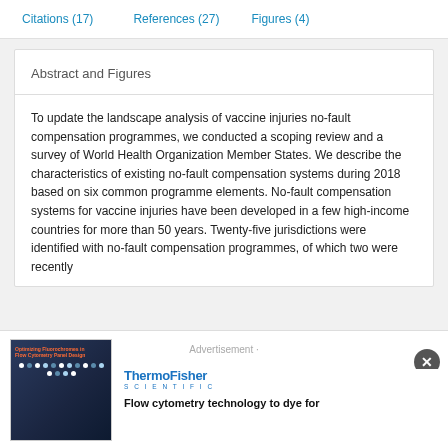Citations (17)    References (27)    Figures (4)
Abstract and Figures
To update the landscape analysis of vaccine injuries no-fault compensation programmes, we conducted a scoping review and a survey of World Health Organization Member States. We describe the characteristics of existing no-fault compensation systems during 2018 based on six common programme elements. No-fault compensation systems for vaccine injuries have been developed in a few high-income countries for more than 50 years. Twenty-five jurisdictions were identified with no-fault compensation programmes, of which two were recently
Advertisement
[Figure (photo): ThermoFisher Scientific advertisement showing a cytometry panel design image with blue/dark background and scattered light dots, alongside bold text reading 'Flow cytometry technology to dye for']